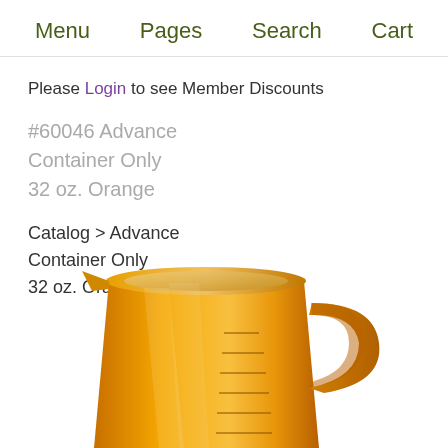Menu   Pages   Search   Cart
Please Login to see Member Discounts
#60046 Advance Container Only 32 oz. Orange
Catalog > Advance Container Only 32 oz. Orange
[Figure (photo): Orange plastic blender container/pitcher, 32 oz, shown from a slight angle with handle visible on right side and measurement markings on the front]